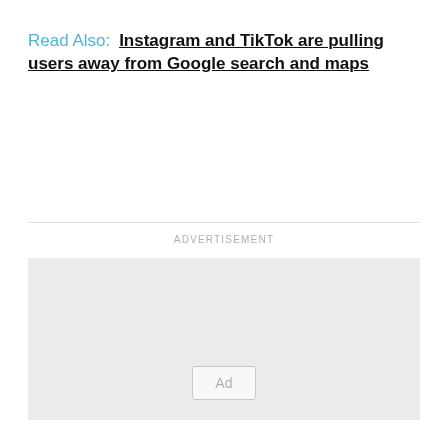Read Also: Instagram and TikTok are pulling users away from Google search and maps
[Figure (other): Advertisement placeholder box with gray background and 'Ad' badge label at bottom center, preceded by a horizontal rule and 'ADVERTISEMENT' label]